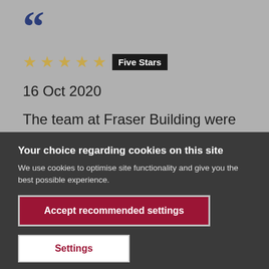[Figure (screenshot): Large quotation mark in dark blue, beginning of a review card on a grey background]
★★★★★  Five Stars
16 Oct 2020
The team at Fraser Building were
Your choice regarding cookies on this site
We use cookies to optimise site functionality and give you the best possible experience.
Accept recommended settings
Settings